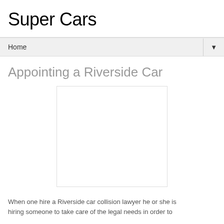Super Cars
Home ▼
Appointing a Riverside Car
[Figure (other): Empty white image placeholder with light border]
When one hire a Riverside car collision lawyer he or she is hiring someone to take care of the legal needs in order to